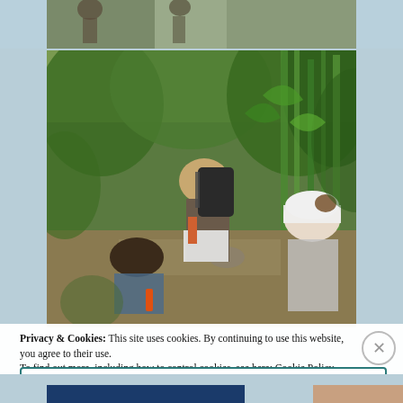[Figure (photo): A partial view of people in an outdoor setting at the top of the page (cropped, partially visible)]
[Figure (photo): A woman with a large backpack bending over near a stream in a lush green tropical/jungle setting, with another person wearing a white cap visible to the right and a third person in the foreground, surrounded by dense green vegetation]
Privacy & Cookies: This site uses cookies. By continuing to use this website, you agree to their use.
To find out more, including how to control cookies, see here: Cookie Policy
Close and accept